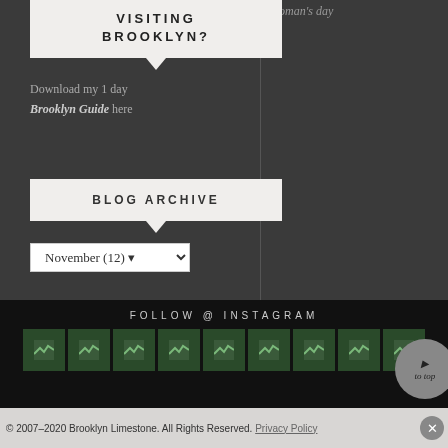VISITING BROOKLYN?
Download my 1 day Brooklyn Guide here
BLOG ARCHIVE
November (12)
woman's day
FOLLOW @ INSTAGRAM
[Figure (photo): Row of small Instagram thumbnail images showing green/nature photos]
to top
© 2007–2020 Brooklyn Limestone. All Rights Reserved. Privacy Policy